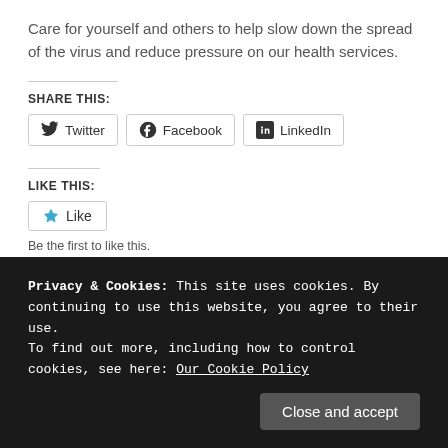Care for yourself and others to help slow down the spread of the virus and reduce pressure on our health services.
SHARE THIS:
Twitter | Facebook | LinkedIn
LIKE THIS:
Like
Be the first to like this.
Privacy & Cookies: This site uses cookies. By continuing to use this website, you agree to their use.
To find out more, including how to control cookies, see here: Our Cookie Policy